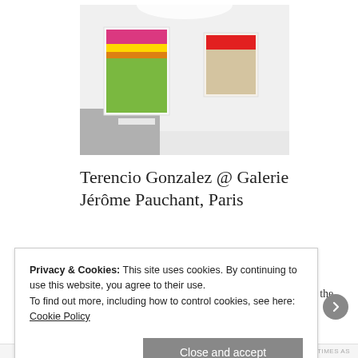[Figure (photo): Gallery installation photo showing two abstract paintings hung on white walls. Left painting has horizontal stripes of pink, yellow, and green. Right painting has red and beige horizontal bands. Gray pedestal visible on left.]
Terencio Gonzalez @ Galerie Jérôme Pauchant, Paris
Chroniques d'un été «Are you happy?» During the summer of 1960, Edgar Morin and Jean Rouch make the film Chronique d'un été (Chronicle of a Summer), in which they ask this question to
Privacy & Cookies: This site uses cookies. By continuing to use this website, you agree to their use.
To find out more, including how to control cookies, see here: Cookie Policy
Close and accept